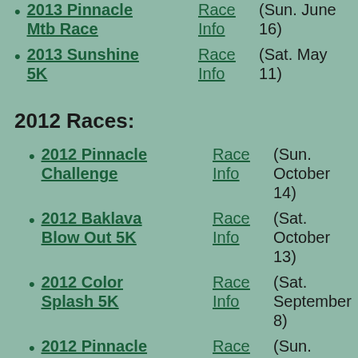2013 Pinnacle Mtb Race — Race Info — (Sun. June 16)
2013 Sunshine 5K — Race Info — (Sat. May 11)
2012 Races:
2012 Pinnacle Challenge — Race Info — (Sun. October 14)
2012 Baklava Blow Out 5K — Race Info — (Sat. October 13)
2012 Color Splash 5K — Race Info — (Sat. September 8)
2012 Pinnacle Mountain Bike Race — Race Info — (Sun. June 17)